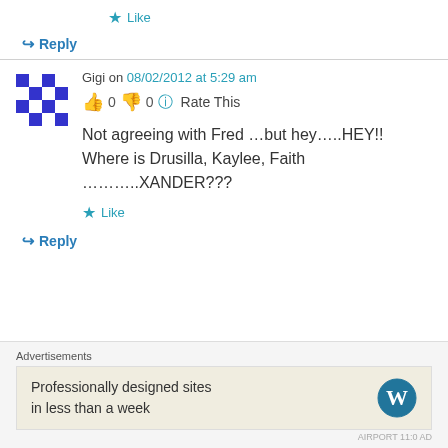★ Like
↳ Reply
Gigi on 08/02/2012 at 5:29 am
👍 0 👎 0 ℹ Rate This
Not agreeing with Fred …but hey…..HEY!! Where is Drusilla, Kaylee, Faith ………..XANDER???
★ Like
↳ Reply
Advertisements
[Figure (infographic): WordPress advertisement: 'Professionally designed sites in less than a week' with WordPress logo]